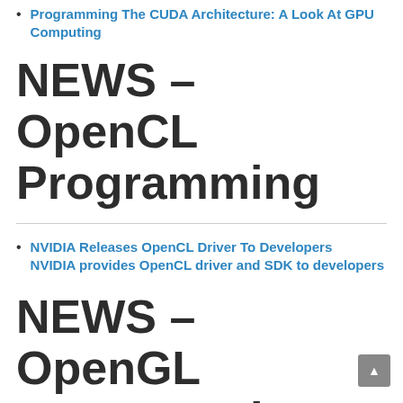Programming The CUDA Architecture: A Look At GPU Computing
NEWS – OpenCL Programming
NVIDIA Releases OpenCL Driver To Developers NVIDIA provides OpenCL driver and SDK to developers
NEWS – OpenGL Programming
Caustic Reinvents Raytracing for Interactive Cinema